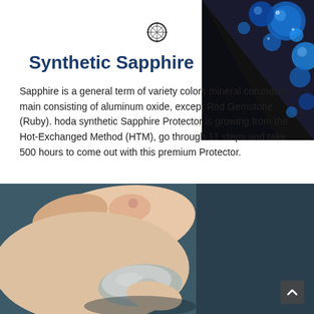[Figure (photo): Blue sapphire gemstones cluster in top-right corner on dark background]
[Figure (illustration): Small circular diamond/gem icon outline in dark gray]
Synthetic Sapphire
Sapphire is a general term of variety colors mineral corundum, main consisting of aluminum oxide, except Red Gemstone (Ruby). hoda synthetic Sapphire Protector is growing from the Hot-Exchanged Method (HTM), go through 11 steps and take 500 hours to come out with this premium Protector.
[Figure (photo): Close-up photo of a hand holding a piece of raw mineral/stone against a dark teal background. A scroll-to-top arrow button is visible in the bottom-right corner.]